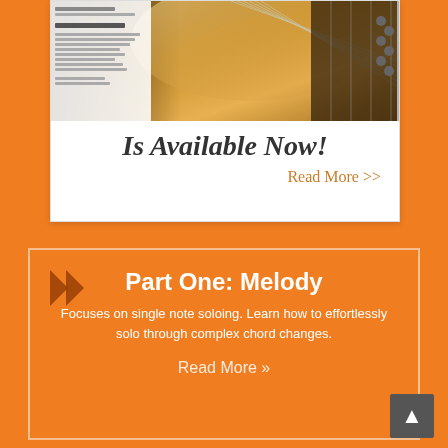[Figure (screenshot): Screenshot of a guitar lesson book/website showing a table of contents with guitar image. Part II: Harmony section visible with topics like Triads & Inversions, Chord Mechanics, Minor Mechanisms, Hammering Familiar, Solo Solos, Arp Solings, Slow Turnouts.]
Is Available Now!
Read More >>
Part One: Melody
Focuses on single note soloing. Learn how to effortlessly solo through complex chord changes.
Read More »